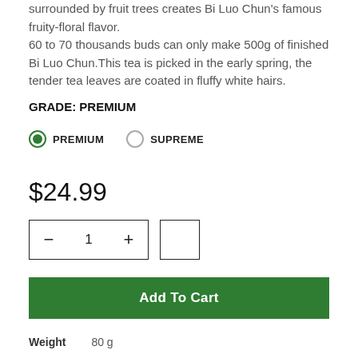surrounded by fruit trees creates Bi Luo Chun's famous fruity-floral flavor.
60 to 70 thousands buds can only make 500g of finished Bi Luo Chun.This tea is picked in the early spring, the tender tea leaves are coated in fluffy white hairs.
GRADE: PREMIUM
PREMIUM   SUPREME
$24.99
- 1 +
Add To Cart
Weight   80 g